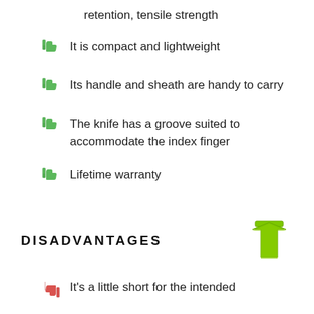retention, tensile strength
It is compact and lightweight
Its handle and sheath are handy to carry
The knife has a groove suited to accommodate the index finger
Lifetime warranty
DISADVANTAGES
It's a little short for the intended